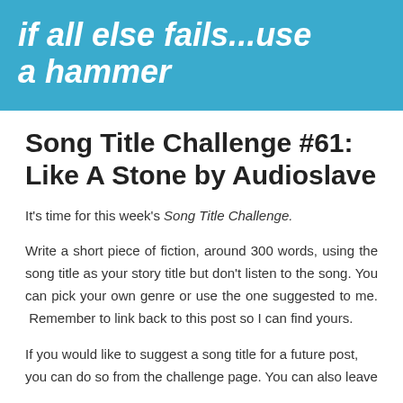if all else fails...use a hammer
Song Title Challenge #61: Like A Stone by Audioslave
It's time for this week's Song Title Challenge.
Write a short piece of fiction, around 300 words, using the song title as your story title but don't listen to the song. You can pick your own genre or use the one suggested to me. Remember to link back to this post so I can find yours.
If you would like to suggest a song title for a future post, you can do so from the challenge page. You can also leave